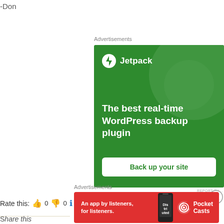-Don
Advertisements
[Figure (illustration): Jetpack WordPress backup plugin advertisement on green background with logo, headline 'The best real-time WordPress backup plugin', and 'Back up your site' button]
REPORT TH...
Rate this: 👍 0 👎 0 ℹ Rate This
Advertisements
[Figure (illustration): Pocket Casts advertisement on red background: 'An app by listeners, for listeners.' with phone image and Pocket Casts logo]